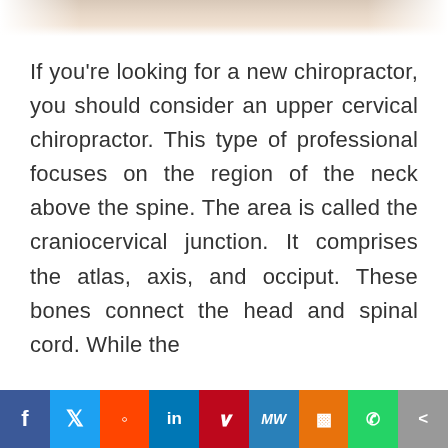[Figure (photo): Partial view of a photo showing hands, possibly related to chiropractic care or spine model]
If you're looking for a new chiropractor, you should consider an upper cervical chiropractor. This type of professional focuses on the region of the neck above the spine. The area is called the craniocervical junction. It comprises the atlas, axis, and occiput. These bones connect the head and spinal cord. While the
Social share bar: Facebook, Twitter, Reddit, LinkedIn, Pinterest, MeWe, Mix, WhatsApp, Share